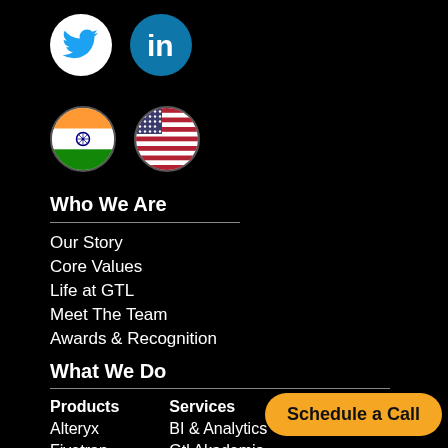[Figure (logo): Twitter bird icon (blue on white circle) and LinkedIn logo (white on teal circle)]
[Figure (illustration): Indian flag circle and US flag circle]
Who We Are
Our Story
Core Values
Life at GTL
Meet The Team
Awards & Recognition
What We Do
| Products | Services |
| --- | --- |
| Alteryx | BI & Analytics |
| Fivetran | Gtl Akademia |
| Neo4j | Data Lifecycle Diagnostics |
Schedule a Call